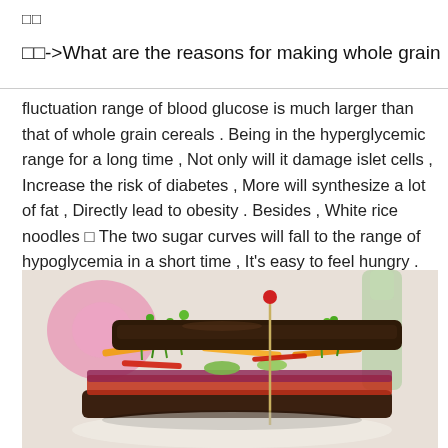□□
□□->What are the reasons for making whole grain
fluctuation range of blood glucose is much larger than that of whole grain cereals . Being in the hyperglycemic range for a long time , Not only will it damage islet cells , Increase the risk of diabetes , More will synthesize a lot of fat , Directly lead to obesity . Besides , White rice noodles □ The two sugar curves will fall to the range of hypoglycemia in a short time , It's easy to feel hungry .
[Figure (photo): A close-up photo of a whole grain dark bread sandwich filled with colorful vegetables including carrots, greens, red peppers, and cucumber, with a toothpick/skewer on top, blurred pink flower and green bottle in background.]